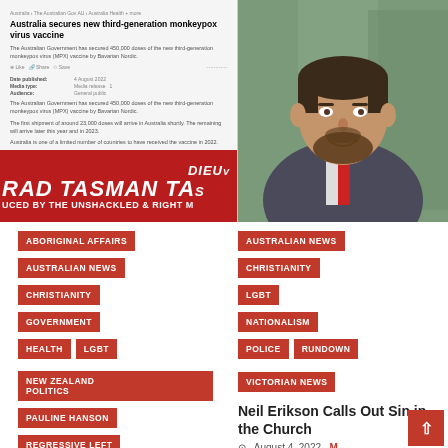[Figure (screenshot): Screenshot of Australian government health page about securing new third-generation monkeypox virus vaccine]
[Figure (photo): Photo of a bearded man in a suit, Neil Erikson]
DIEU
RAD TASMAN TA
UCED BY THE UNSHACKLED & RIGHT M
ABORIGINAL AFFAIRS
AUSTRALIAN NEWS
CHRISTIANITY
GOVERNMENT
HEALTH
LGBT
NEW ZEALAND POLITICS
PAULINE HANSON
REGRESSIVE LEFT
SHOWS
AUSTRALIAN NEWS
CHRISTIANITY
LGBT
NATIONALISM
POLICE
RUNDOWN
VICTORIAN NEWS
Neil Erikson Calls Out Sin in the Church
August 4, 2022
Huss